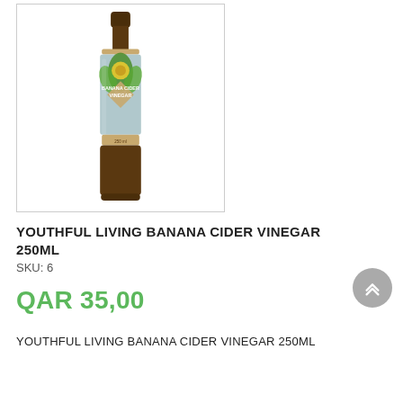[Figure (photo): A tall dark glass bottle of Youthful Living Banana Cider Vinegar 250ml with a decorative label featuring green leaves and yellow sunflower elements on a light blue background, inside a light grey bordered box.]
YOUTHFUL LIVING BANANA CIDER VINEGAR 250ML
SKU: 6
QAR 35,00
YOUTHFUL LIVING BANANA CIDER VINEGAR 250ML